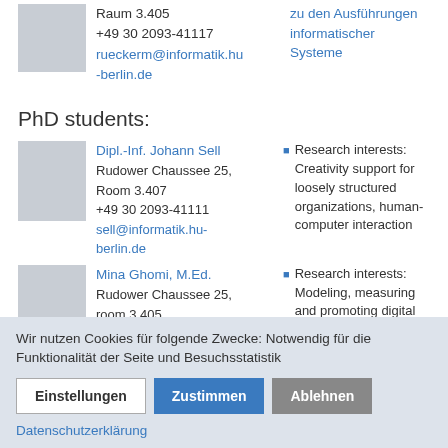Raum 3.405
+49 30 2093-41117
rueckerm@informatik.hu-berlin.de
zu den Ausführungen informatischer Systeme
PhD students:
[Figure (photo): Placeholder photo for Dipl.-Inf. Johann Sell]
Dipl.-Inf. Johann Sell
Rudower Chaussee 25, Room 3.407
+49 30 2093-41111
sell@informatik.hu-berlin.de
Research interests: Creativity support for loosely structured organizations, human-computer interaction
[Figure (photo): Placeholder photo for Mina Ghomi, M.Ed.]
Mina Ghomi, M.Ed.
Rudower Chaussee 25, room 3.405
+49 30 2093-41117
Research interests: Modeling, measuring and promoting digital competencies of
Wir nutzen Cookies für folgende Zwecke: Notwendig für die Funktionalität der Seite und Besuchsstatistik
Einstellungen | Zustimmen | Ablehnen
Datenschutzerklärung